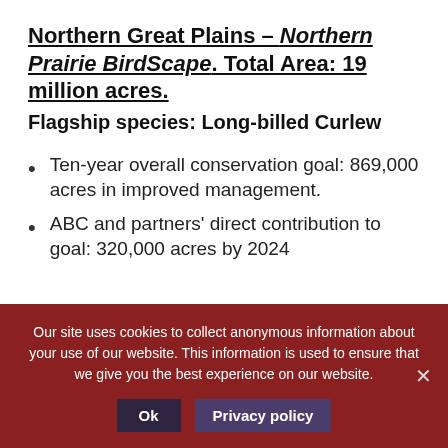Northern Great Plains – Northern Prairie BirdScape. Total Area: 19 million acres.
Flagship species: Long-billed Curlew
Ten-year overall conservation goal: 869,000 acres in improved management.
ABC and partners' direct contribution to goal: 320,000 acres by 2024
Our site uses cookies to collect anonymous information about your use of our website. This information is used to ensure that we give you the best experience on our website.